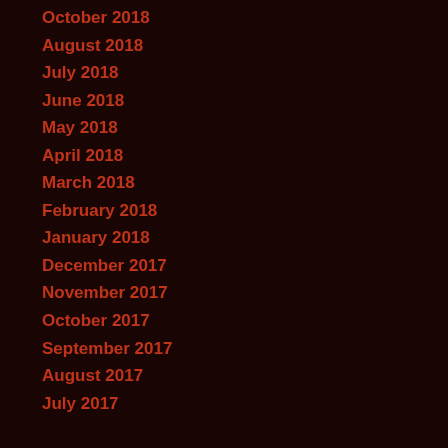October 2018
August 2018
July 2018
June 2018
May 2018
April 2018
March 2018
February 2018
January 2018
December 2017
November 2017
October 2017
September 2017
August 2017
July 2017